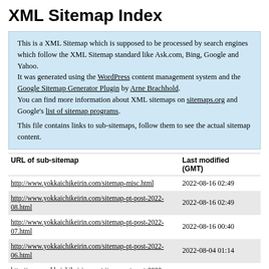XML Sitemap Index
This is a XML Sitemap which is supposed to be processed by search engines which follow the XML Sitemap standard like Ask.com, Bing, Google and Yahoo.
It was generated using the WordPress content management system and the Google Sitemap Generator Plugin by Arne Brachhold.
You can find more information about XML sitemaps on sitemaps.org and Google's list of sitemap programs.

This file contains links to sub-sitemaps, follow them to see the actual sitemap content.
| URL of sub-sitemap | Last modified (GMT) |
| --- | --- |
| http://www.yokkaichikeirin.com/sitemap-misc.html | 2022-08-16 02:49 |
| http://www.yokkaichikeirin.com/sitemap-pt-post-2022-08.html | 2022-08-16 02:49 |
| http://www.yokkaichikeirin.com/sitemap-pt-post-2022-07.html | 2022-08-16 00:40 |
| http://www.yokkaichikeirin.com/sitemap-pt-post-2022-06.html | 2022-08-04 01:14 |
| http://www.yokkaichikeirin.com/sitemap-pt-post-2022-05.html | 2022-07-12 00:50 |
| http://www.yokkaichikeirin.com/sitemap-pt-post-2022-04.html | 2022-06-22 04:54 |